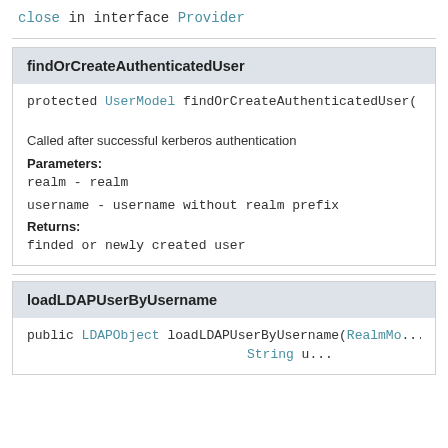close in interface Provider
findOrCreateAuthenticatedUser
protected UserModel findOrCreateAuthenticatedUser(
Called after successful kerberos authentication
Parameters:
realm - realm
username - username without realm prefix
Returns:
finded or newly created user
loadLDAPUserByUsername
public LDAPObject loadLDAPUserByUsername(RealmMod... String u